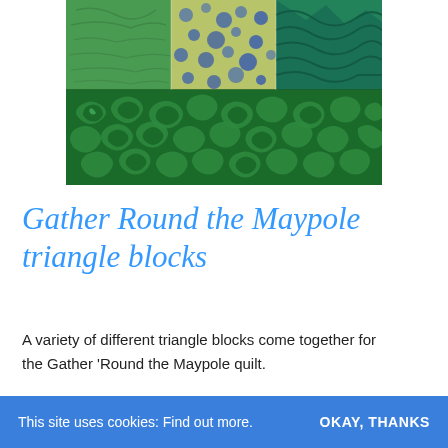[Figure (photo): Close-up photograph of a quilt featuring green patterned fabric triangle blocks. The top portion shows a patchwork of various green fabrics including spotted and mottled patterns, while the bottom portion shows a large-scale green botanical/abstract print.]
Gather Round the Maypole triangle blocks
A variety of different triangle blocks come together for the Gather 'Round the Maypole quilt.
This site uses cookies: Find out more.    OKAY, THANKS